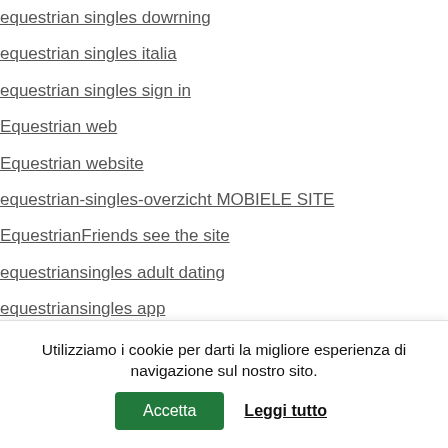equestrian singles dowrning
equestrian singles italia
equestrian singles sign in
Equestrian web
Equestrian website
equestrian-singles-overzicht MOBIELE SITE
EquestrianFriends see the site
equestriansingles adult dating
equestriansingles app
equestriansingles rencontre
EquestrianSingles review
EquestrianSingles try here
EquestrianSingles visitors
Eris alan
eris apk premium
Eris app seiten
Utilizziamo i cookie per darti la migliore esperienza di navigazione sul nostro sito.
Accetta
Leggi tutto